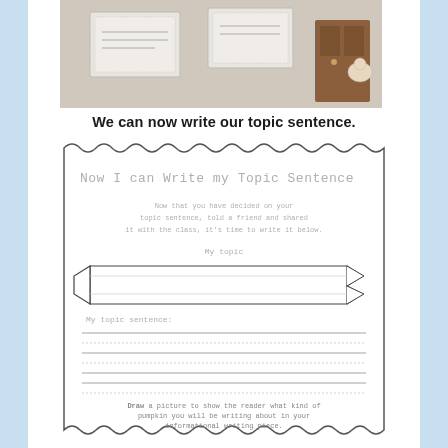[Figure (photo): Photo of classroom materials/worksheets posted on a wall or display board]
We can now write our topic sentence.
[Figure (illustration): Worksheet with scalloped border titled 'Now I can Write my Topic Sentence'. Contains instructional text, a banner graphic for My topic, writing lines for My topic sentence, and a draw instruction about pumpkins.]